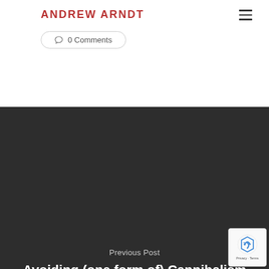ANDREW ARNDT
0 comments
Previous Post
Avoiding (one form of) Cannibalism
[Figure (logo): reCAPTCHA badge with Privacy · Terms text]